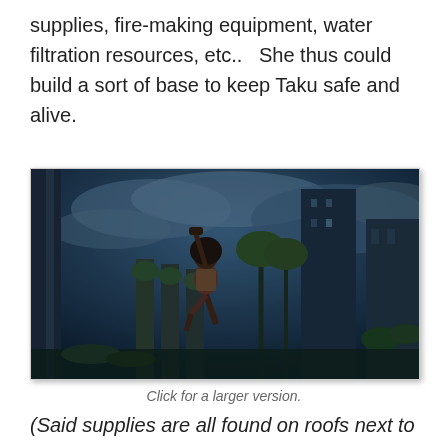supplies, fire-making equipment, water filtration resources, etc..   She thus could build a sort of base to keep Taku safe and alive.
[Figure (screenshot): Video game screenshot showing a female character climbing or leaping between overgrown, post-apocalyptic urban ruins at night, with dark blue cloudy sky and tall buildings covered in vegetation in the background.]
Click for a larger version.
(Said supplies are all found on roofs next to